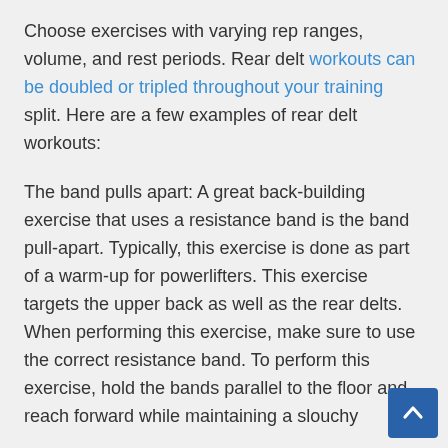Choose exercises with varying rep ranges, volume, and rest periods. Rear delt workouts can be doubled or tripled throughout your training split. Here are a few examples of rear delt workouts:
The band pulls apart: A great back-building exercise that uses a resistance band is the band pull-apart. Typically, this exercise is done as part of a warm-up for powerlifters. This exercise targets the upper back as well as the rear delts. When performing this exercise, make sure to use the correct resistance band. To perform this exercise, hold the bands parallel to the floor and reach forward while maintaining a slouchy